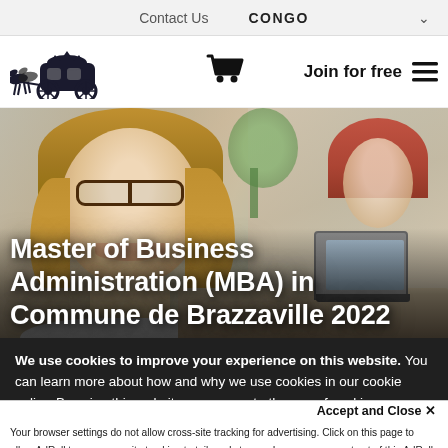Contact Us   CONGO
[Figure (logo): Horse-drawn carriage logo illustration]
[Figure (illustration): Shopping cart icon]
Join for free
[Figure (photo): Woman with glasses smiling, working at a desk with colleagues in background]
Master of Business Administration (MBA) in Commune de Brazzaville 2022
We use cookies to improve your experience on this website. You can learn more about how and why we use cookies in our cookie policy. By using this website, you agree to the use of cookies.
Accept and Close ×
Your browser settings do not allow cross-site tracking for advertising. Click on this page to allow AdRoll to use cross-site tracking to tailor ads to you. Learn more or opt out of this AdRoll tracking by clicking here. This message only appears once.